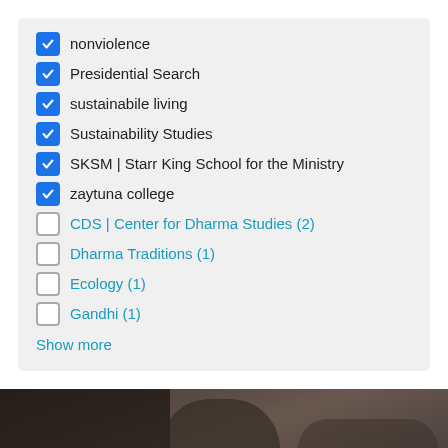nonviolence (checked)
Presidential Search (checked)
sustainabile living (checked)
Sustainability Studies (checked)
SKSM | Starr King School for the Ministry (checked)
zaytuna college (checked)
CDS | Center for Dharma Studies (2) (unchecked)
Dharma Traditions (1) (unchecked)
Ecology (1) (unchecked)
Gandhi (1) (unchecked)
Show more
[Figure (photo): Photo of students in a classroom setting, dimly lit background]
Discover the Future of Religious Scholarship